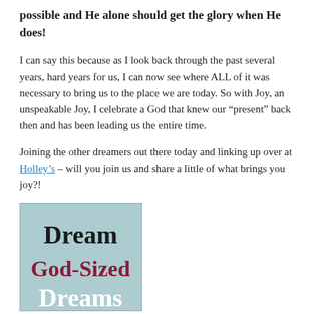possible and He alone should get the glory when He does!
I can say this because as I look back through the past several years, hard years for us, I can now see where ALL of it was necessary to bring us to the place we are today. So with Joy, an unspeakable Joy, I celebrate a God that knew our “present” back then and has been leading us the entire time.
Joining the other dreamers out there today and linking up over at Holley’s – will you join us and share a little of what brings you joy?!
[Figure (illustration): Book cover image showing 'Dream God-Sized Dreams' text on a light teal/blue background, with 'Dream' in black serif font and 'God-Sized' in dark red/crimson serif font, and 'Dreams' in white serif font partially visible at bottom.]